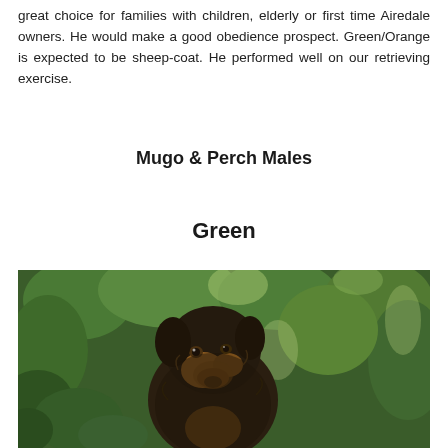great choice for families with children, elderly or first time Airedale owners. He would make a good obedience prospect. Green/Orange is expected to be sheep-coat. He performed well on our retrieving exercise.
Mugo & Perch Males
Green
[Figure (photo): A dark brown and tan Airedale puppy sitting among green foliage and trees]